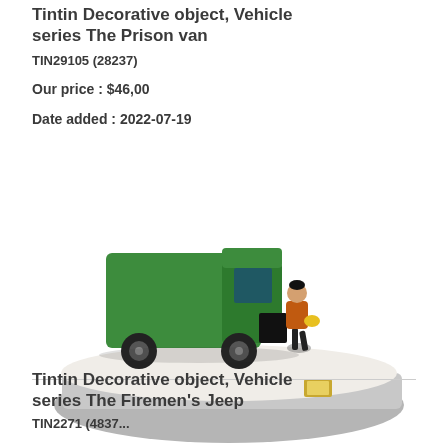Tintin Decorative object, Vehicle series The Prison van
TIN29105 (28237)
Our price : $46,00
Date added : 2022-07-19
[Figure (photo): A Tintin decorative collectible featuring a green prison van with a miniature figure of a person in orange clothing on a display base]
Tintin Decorative object, Vehicle series The Firemen's Jeep
TIN2271 (28237